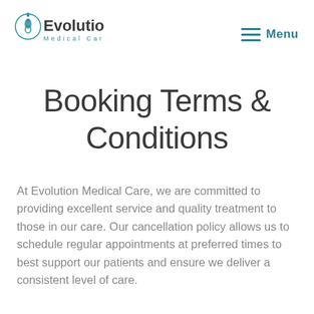Evolution Medical Care — Menu
Booking Terms & Conditions
At Evolution Medical Care, we are committed to providing excellent service and quality treatment to those in our care. Our cancellation policy allows us to schedule regular appointments at preferred times to best support our patients and ensure we deliver a consistent level of care.